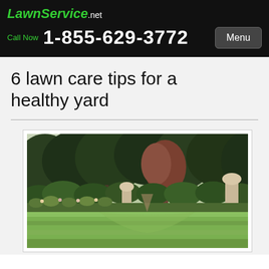LawnService.net
Call Now 1-855-629-3772
6 lawn care tips for a healthy yard
[Figure (photo): A well-manicured lawn with lush green grass in the foreground, bordered by flowering plants and shrubs, with tall trees in the background and ornamental stone urns/pillars visible on the right side.]